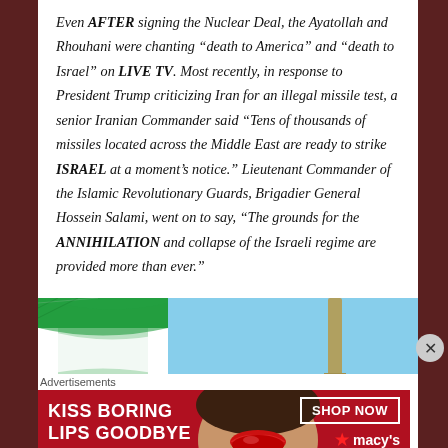Even AFTER signing the Nuclear Deal, the Ayatollah and Rhouhani were chanting “death to America” and “death to Israel” on LIVE TV. Most recently, in response to President Trump criticizing Iran for an illegal missile test, a senior Iranian Commander said “Tens of thousands of missiles located across the Middle East are ready to strike ISRAEL at a moment’s notice.” Lieutenant Commander of the Islamic Revolutionary Guards, Brigadier General Hossein Salami, went on to say, “The grounds for the ANNIHILATION and collapse of the Israeli regime are provided more than ever.”
[Figure (photo): Photo showing an Iranian flag on the left and a missile on the right against a blue sky background]
Advertisements
[Figure (photo): Advertisement banner for Macy's lip product: 'KISS BORING LIPS GOODBYE' with a woman's face showing red lips, and a 'SHOP NOW' button with the Macy's star logo]